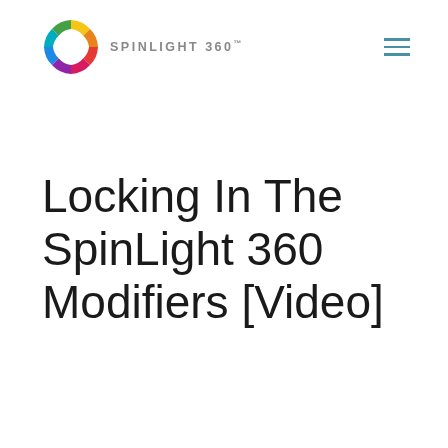[Figure (logo): SpinLight 360 logo: colorful segmented ring (donut) shape with multicolor segments (red, orange, yellow, green, blue, purple, pink) on left, with text 'SPINLIGHT 360' in grey sans-serif letters to the right]
Locking In The SpinLight 360 Modifiers [Video]